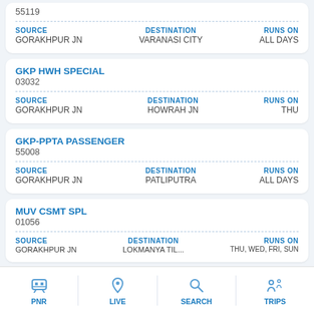55119
SOURCE: GORAKHPUR JN | DESTINATION: VARANASI CITY | RUNS ON: ALL DAYS
GKP HWH SPECIAL
03032
SOURCE: GORAKHPUR JN | DESTINATION: HOWRAH JN | RUNS ON: THU
GKP-PPTA PASSENGER
55008
SOURCE: GORAKHPUR JN | DESTINATION: PATLIPUTRA | RUNS ON: ALL DAYS
MUV CSMT SPL
01056
SOURCE: GORAKHPUR JN | DESTINATION: (LOKMANYA TILAK T...) | RUNS ON: THU, WED, TRI, SUN
PNR | LIVE | SEARCH | TRIPS